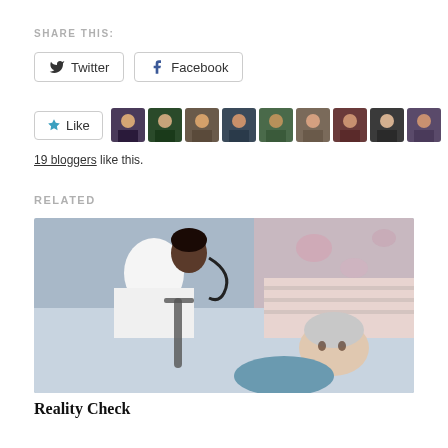SHARE THIS:
Twitter | Facebook
[Figure (other): Like button with star icon and row of 9 blogger avatar thumbnails]
19 bloggers like this.
RELATED
[Figure (photo): A healthcare worker in white coat with stethoscope leaning over an elderly woman lying in a hospital bed]
Reality Check